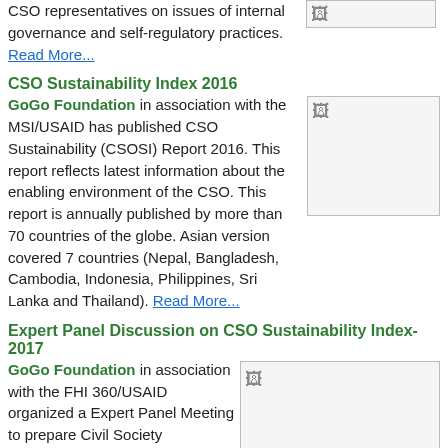CSO representatives on issues of internal governance and self-regulatory practices. Read More...
[Figure (other): Small broken image placeholder (top right area)]
CSO Sustainability Index 2016
GoGo Foundation in association with the MSI/USAID has published CSO Sustainability (CSOSI) Report 2016. This report reflects latest information about the enabling environment of the CSO. This report is annually published by more than 70 countries of the globe. Asian version covered 7 countries (Nepal, Bangladesh, Cambodia, Indonesia, Philippines, Sri Lanka and Thailand). Read More...
[Figure (other): Image placeholder for CSO Sustainability Index 2016]
Expert Panel Discussion on CSO Sustainability Index-2017
GoGo Foundation in association with the FHI 360/USAID organized a Expert Panel Meeting to prepare Civil Society Sustainability Index (CSOSI) of 2017. This is an unique exercise to produce score with justifications to gauze enabling environment of CSOs in Nepal. Road...
[Figure (other): Image placeholder for Expert Panel Discussion on CSO Sustainability Index 2017]